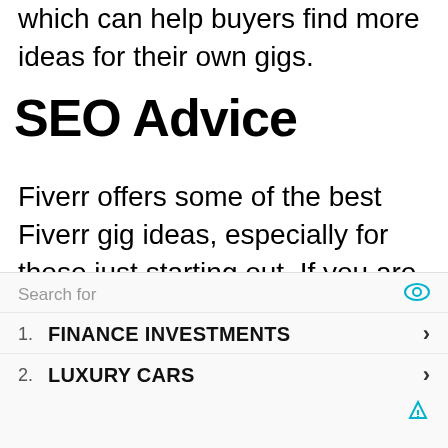which can help buyers find more ideas for their own gigs.
SEO Advice
Fiverr offers some of the best Fiverr gig ideas, especially for those just starting out. If you are selling your writing skills, you might consider writing blog posts, giving SEO advice, or designing websites. As you build your list of customers, you can turn those potential customers into actual
Search for
1. FINANCE INVESTMENTS
2. LUXURY CARS